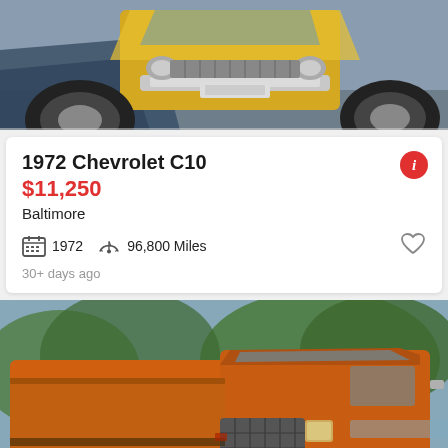[Figure (photo): Top portion of a yellow/gold vintage car front end, showing hood, front bumper, and partial windshield area, viewed from above on a gray pavement background.]
1972 Chevrolet C10
$11,250
Baltimore
1972  96,800 Miles
30+ days ago
[Figure (photo): An orange 1972 Chevrolet C10 pickup truck parked on a gravel/dirt area with trees in the background. The truck shows patina/wear, visible rust and chrome front grille. A 'See photo' button overlay appears in the bottom right corner.]